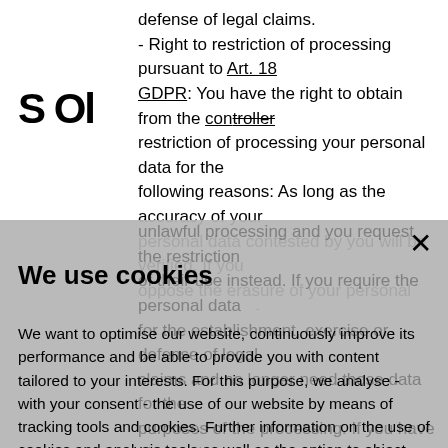[Figure (logo): SOL logo in large bold black letters]
defense of legal claims.
- Right to restriction of processing pursuant to Art. 18 GDPR: You have the right to obtain from the controller restriction of processing your personal data for the following reasons: As long as the accuracy of your personal data contested by you will be verified. If you oppose the erasure of your personal data because of
unlawful processing and you request the restriction of their use instead. If you require the personal data for the establishment, exercise or defense of legal claims and no longer need those data for the purposes of the processing. If you have objected to
We use cookies
We want to optimise our website, continuously improve its performance and be able to provide you with content tailored to your interests. For this purpose, we analyse - with your consent - the use of our website by means of tracking tools and cookies. Further information on the use of cookies and analysis tools as well as the option to object can be found in our data protection